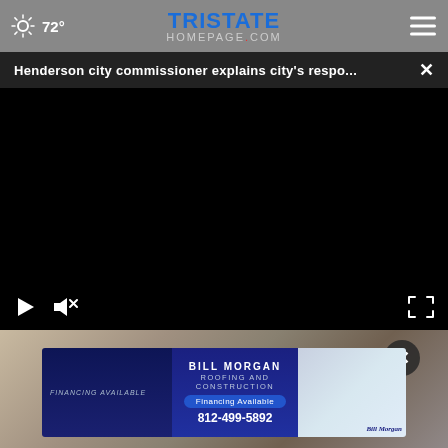72° Tristate Homepage.com
Henderson city commissioner explains city's respo...
[Figure (screenshot): Embedded video player showing black screen with play and mute controls at bottom left and fullscreen button at bottom right]
[Figure (photo): Photo of person partially visible behind an advertisement overlay]
[Figure (infographic): Bill Morgan Roofing and Construction advertisement banner. Phone number 812-499-5892. Financing Available button.]